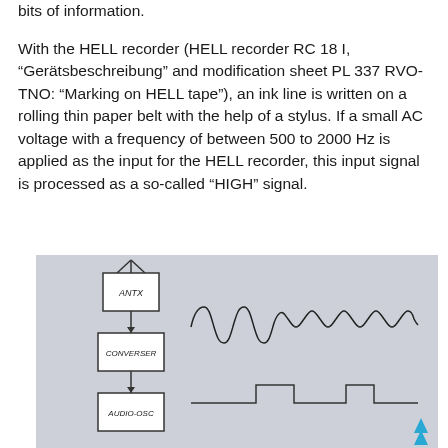bits of information.
With the HELL recorder (HELL recorder RC 18 I, “Gerätsbeschreibung” and modification sheet PL 337 RVO-TNO: “Marking on HELL tape”), an ink line is written on a rolling thin paper belt with the help of a stylus. If a small AC voltage with a frequency of between 500 to 2000 Hz is applied as the input for the HELL recorder, this input signal is processed as a so-called “HIGH” signal.
[Figure (schematic): Block diagram showing ANTX block connected to CONVERSER block connected to AUDIO-OSC block, with a sinusoidal waveform trace and a square wave signal trace shown to the right of the blocks.]